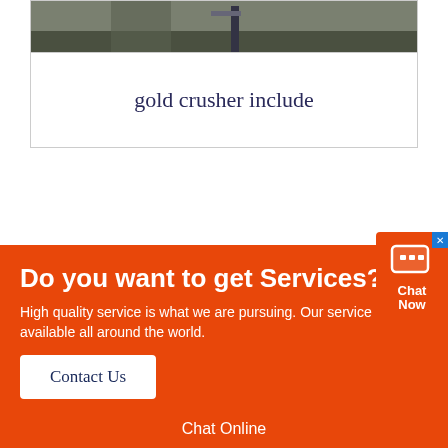[Figure (photo): Partial view of industrial/mining equipment or machinery in outdoor setting]
gold crusher include
Do you want to get Services?
High quality service is what we are pursuing. Our service is available all around the world.
Contact Us
Copyright © 2020-2025 by China Liming Heavy Industry Science and...
ABOUT US |  PRODUCTS |  CASE |
Chat Online